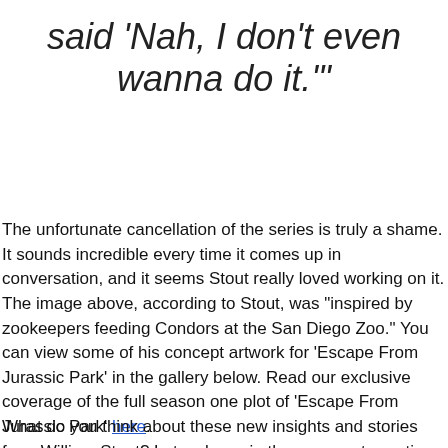said ‘Nah, I don’t even wanna do it.’”
The unfortunate cancellation of the series is truly a shame. It sounds incredible every time it comes up in conversation, and it seems Stout really loved working on it. The image above, according to Stout, was “inspired by zookeepers feeding Condors at the San Diego Zoo.” You can view some of his concept artwork for ‘Escape From Jurassic Park’ in the gallery below. Read our exclusive coverage of the full season one plot of ‘Escape From Jurassic Park’ here.
What do you think about these new insights and stories from William Stout? Let us know in the comments section below.